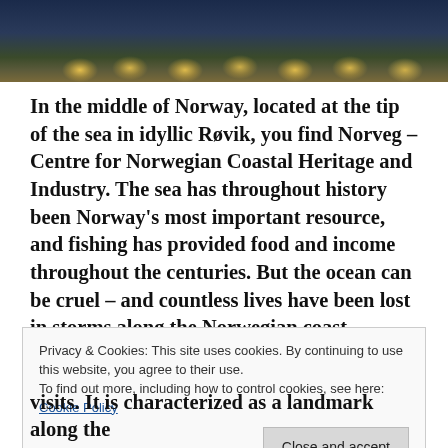[Figure (photo): Dark photograph showing night-time coastal scene with bokeh lights in warm yellow tones against a dark blue/green background]
In the middle of Norway, located at the tip of the sea in idyllic Røvik, you find Norveg – Centre for Norwegian Coastal Heritage and Industry. The sea has throughout history been Norway's most important resource, and fishing has provided food and income throughout the centuries. But the ocean can be cruel – and countless lives have been lost in storms along the Norwegian coast.
Privacy & Cookies: This site uses cookies. By continuing to use this website, you agree to their use.
To find out more, including how to control cookies, see here: Cookie Policy
[Close and accept]
visits. It is characterized as a landmark along the